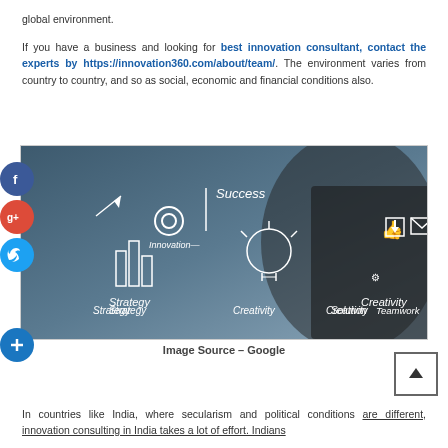global environment.
If you have a business and looking for best innovation consultant, contact the experts by https://innovation360.com/about/team/. The environment varies from country to country, and so as social, economic and financial conditions also.
[Figure (photo): Business person drawing innovation concepts on glass including Strategy, Creativity, Solution, Teamwork, Success, Innovation icons with social media sharing buttons on the left side (Facebook, Google+, Twitter, Plus).]
Image Source – Google
In countries like India, where secularism and political conditions are different, innovation consulting in India takes a lot of effort. Indians